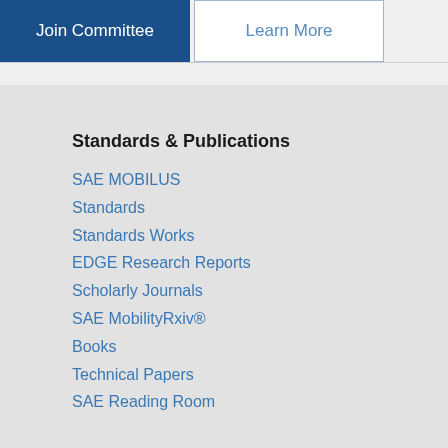Join Committee
Learn More
Standards & Publications
SAE MOBILUS
Standards
Standards Works
EDGE Research Reports
Scholarly Journals
SAE MobilityRxiv®
Books
Technical Papers
SAE Reading Room
News & Information
News
Magazines
SAE Press Room
SAE@Home Video Series
Roundtable Series